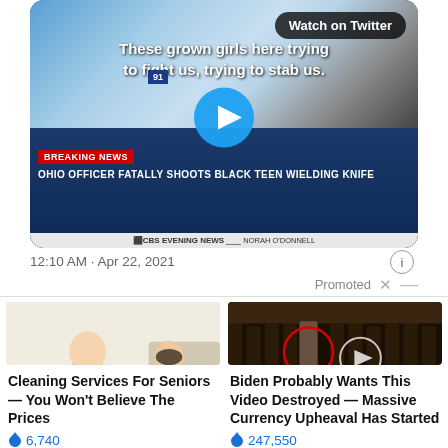[Figure (screenshot): Twitter video thumbnail showing CBS Evening News breaking news segment about Ohio officer fatally shooting Black teen wielding knife, with play button overlay and 'Watch on Twitter' badge]
12:10 AM · Apr 22, 2021
Promoted
[Figure (photo): Advertisement photo showing cleaning service workers (women in green uniforms with yellow gloves)]
Cleaning Services For Seniors — You Won't Believe The Prices
🔥 6,740
[Figure (photo): Advertisement photo showing group of people standing in front of CIA seal on floor, with red circle highlighting one person]
Biden Probably Wants This Video Destroyed — Massive Currency Upheaval Has Started
🔥 247,550